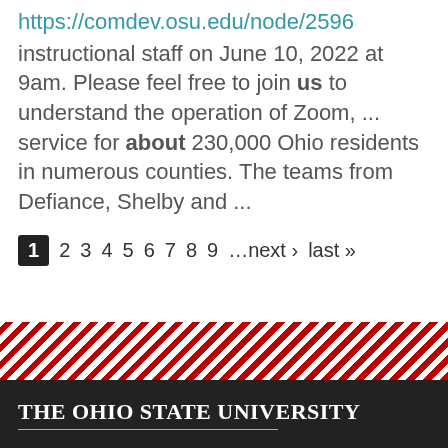https://comdev.osu.edu/node/2596 instructional staff on June 10, 2022 at 9am. Please feel free to join us to understand the operation of Zoom, ... service for about 230,000 Ohio residents in numerous counties. The teams from Defiance, Shelby and ...
1 2 3 4 5 6 7 8 9 …next › last »
[Figure (other): Diagonal red and white striped decorative banner above the Ohio State University footer]
The Ohio State University